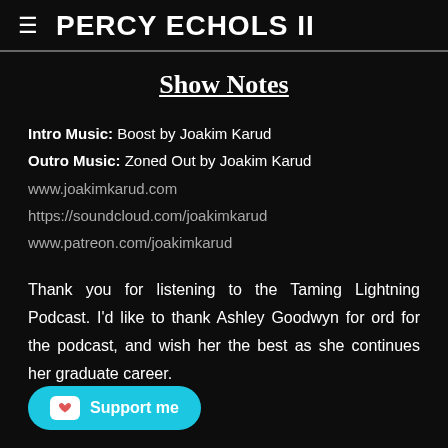PERCY ECHOLS II
Show Notes
Intro Music: Boost by Joakim Karud
Outro Music: Zoned Out by Joakim Karud
www.joakimkarud.com
https://soundcloud.com/joakimkarud
www.patreon.com/joakimkarud
Thank you for listening to the Taming Lightning Podcast. I'd like to thank Ashley Goodwyn for [...]ord for the podcast, and wish her the best as she continues her graduate career.